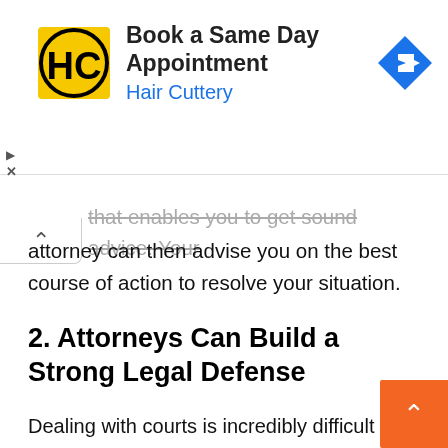[Figure (infographic): Advertisement banner for Hair Cuttery showing HC logo, 'Book a Same Day Appointment' text, 'Hair Cuttery' subtitle in blue, and a blue navigation arrow icon on the right.]
that enables you to get sound advice. Your attorney can then advise you on the best course of action to resolve your situation.
2. Attorneys Can Build a Strong Legal Defense
Dealing with courts is incredibly difficult for people who do not understand court procedures and the wide range of statutes on the books. People who choose to defend themselves in court rarely win because prosecutors can use court procedures and other technicalities to prevent